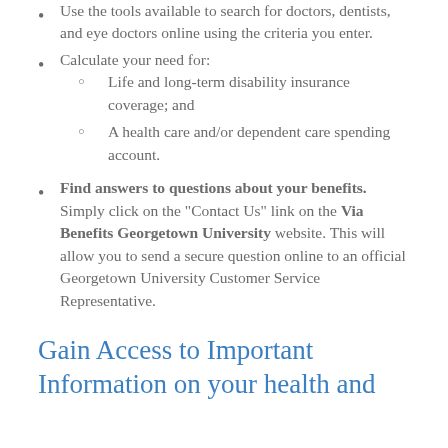Use the tools available to search for doctors, dentists, and eye doctors online using the criteria you enter.
Calculate your need for:
Life and long-term disability insurance coverage; and
A health care and/or dependent care spending account.
Find answers to questions about your benefits. Simply click on the “Contact Us” link on the Via Benefits Georgetown University website. This will allow you to send a secure question online to an official Georgetown University Customer Service Representative.
Gain Access to Important Information on your health and